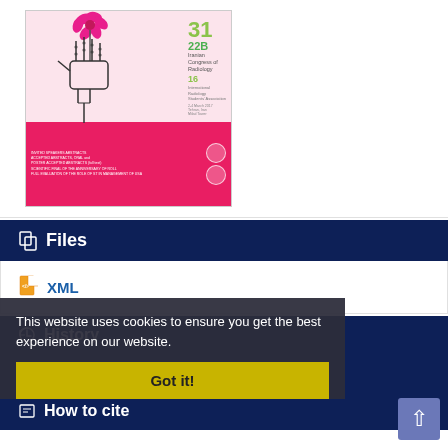[Figure (illustration): Conference poster for the 31st Iranian Congress of Radiology (16th International), showing a skeletal hand holding a pink flower on a light pink background, with magenta lower section containing conference details and logos.]
Files
XML
History
This website uses cookies to ensure you get the best experience on our website.
Share
Got it!
How to cite